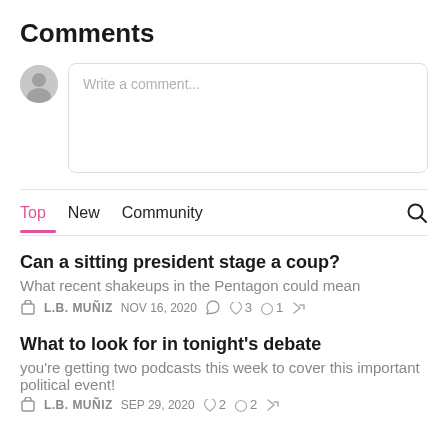Comments
[Figure (other): Comment input area with avatar and text field placeholder 'Write a comment...']
Top  New  Community
Can a sitting president stage a coup?
What recent shakeups in the Pentagon could mean
L.B. MUÑIZ  NOV 16, 2020  ♡ 3  ○ 1  ↗
What to look for in tonight's debate
you're getting two podcasts this week to cover this important political event!
L.B. MUÑIZ  SEP 29, 2020  ♡ 2  ○ 2  ↗